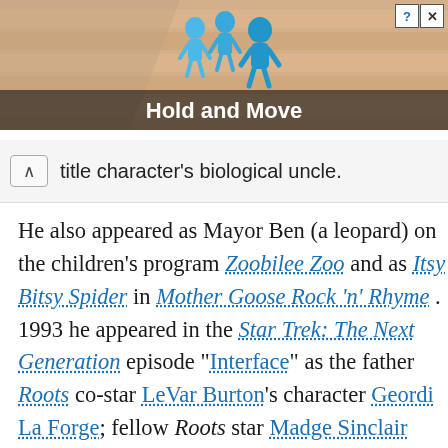[Figure (screenshot): Advertisement banner with cartoon figures and text 'Hold and Move', with close and help buttons in top right corner]
title character's biological uncle.
He also appeared as Mayor Ben (a leopard) on the children's program Zoobilee Zoo and as Itsy Bitsy Spider in Mother Goose Rock 'n' Rhyme. 1993 he appeared in the Star Trek: The Next Generation episode "Interface" as the father Roots co-star LeVar Burton's character Geordi La Forge; fellow Roots star Madge Sinclair appeared in the same episode as Geordi's